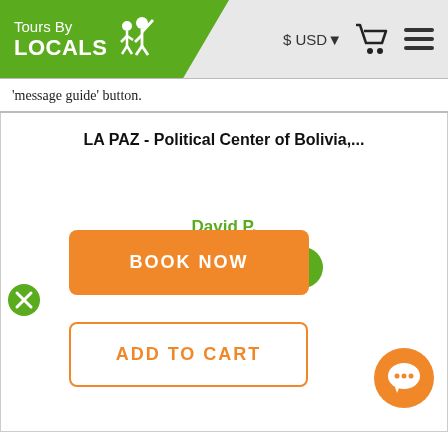[Figure (screenshot): Tours By Locals website header with green logo, USD currency selector, shopping cart icon, and hamburger menu]
'message guide' button.
LA PAZ - Political Center of Bolivia,...
David P.
MESSAGE GUIDE
BOOK NOW
ADD TO CART